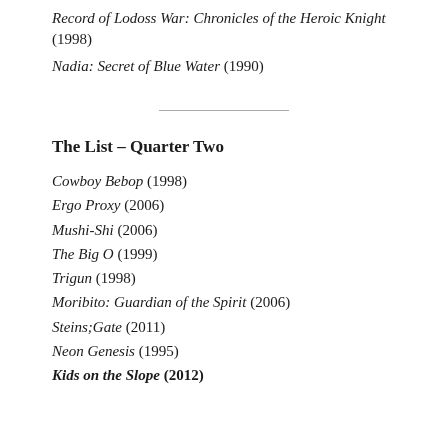Record of Lodoss War: Chronicles of the Heroic Knight (1998)
Nadia: Secret of Blue Water (1990)
The List – Quarter Two
Cowboy Bebop (1998)
Ergo Proxy (2006)
Mushi-Shi (2006)
The Big O (1999)
Trigun (1998)
Moribito: Guardian of the Spirit (2006)
Steins;Gate (2011)
Neon Genesis (1995)
Kids on the Slope (2012)